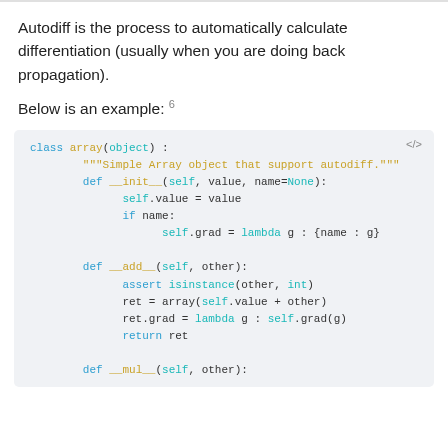Autodiff is the process to automatically calculate differentiation (usually when you are doing back propagation).
Below is an example: 6
[Figure (screenshot): Python code block showing a class 'array(object)' with __init__, __add__, and __mul__ methods supporting autodiff, with syntax highlighting on a light gray background.]